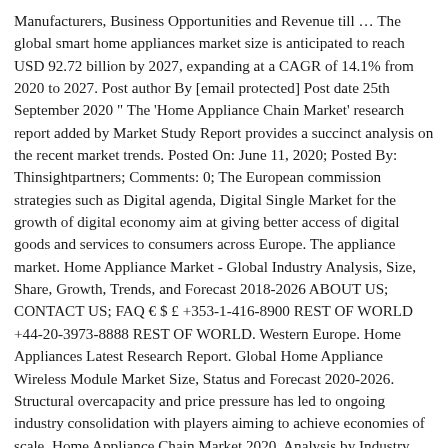Manufacturers, Business Opportunities and Revenue till … The global smart home appliances market size is anticipated to reach USD 92.72 billion by 2027, expanding at a CAGR of 14.1% from 2020 to 2027. Post author By [email protected] Post date 25th September 2020 " The 'Home Appliance Chain Market' research report added by Market Study Report provides a succinct analysis on the recent market trends. Posted On: June 11, 2020; Posted By: Thinsightpartners; Comments: 0; The European commission strategies such as Digital agenda, Digital Single Market for the growth of digital economy aim at giving better access of digital goods and services to consumers across Europe. The appliance market. Home Appliance Market - Global Industry Analysis, Size, Share, Growth, Trends, and Forecast 2018-2026 ABOUT US; CONTACT US; FAQ € $ £ +353-1-416-8900 REST OF WORLD +44-20-3973-8888 REST OF WORLD. Western Europe. Home Appliances Latest Research Report. Global Home Appliance Wireless Module Market Size, Status and Forecast 2020-2026. Structural overcapacity and price pressure has led to ongoing industry consolidation with players aiming to achieve economies of scale. Home Appliance Chain Market 2020, Analysis by Industry Trends, Size, Share, Company Overview, Growth, Development and Forecast by 2023 . The global Home Appliance market size is expected to gain market growth in the forecast period of 2020 to 2025, with a CAGR of